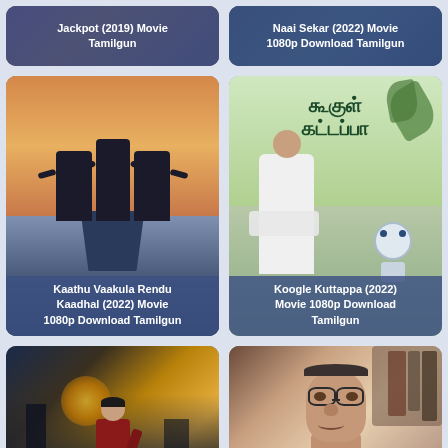[Figure (screenshot): Movie thumbnail card for Jackpot (2019) Movie Tamilgun with purple/dark background]
[Figure (screenshot): Movie thumbnail card for Naai Sekar (2022) Movie 1080p Download Tamilgun with teal/dark background]
[Figure (screenshot): Movie poster for Kaathu Vaakula Rendu Kaadhal (2022) showing three figures on a ship bow in Titanic pose, warm sky background]
[Figure (screenshot): Movie poster for Koogle Kuttappa (2022) showing man in white with robot, green nature background, Tamil script title at top]
[Figure (screenshot): Action hero movie poster showing young man in red jacket with city/futuristic background]
[Figure (screenshot): Comedy actor close-up with glasses in indoor setting with bookshelves]